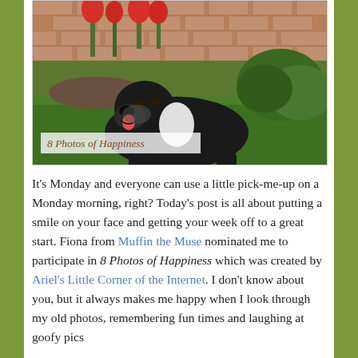[Figure (photo): A black dog lying on green grass in front of a brick wall with red tulips and green bushes. An overlaid caption reads '8 Photos of Happiness' in italic reddish-brown text on a semi-transparent white background.]
It's Monday and everyone can use a little pick-me-up on a Monday morning, right? Today's post is all about putting a smile on your face and getting your week off to a great start. Fiona from Muffin the Muse nominated me to participate in 8 Photos of Happiness which was created by Ariel's Little Corner of the Internet. I don't know about you, but it always makes me happy when I look through my old photos, remembering fun times and laughing at goofy pics